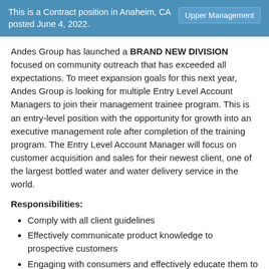This is a Contract position in Anaheim, CA posted June 4, 2022.	Upper Management
Andes Group has launched a BRAND NEW DIVISION focused on community outreach that has exceeded all expectations. To meet expansion goals for this next year, Andes Group is looking for multiple Entry Level Account Managers to join their management trainee program. This is an entry-level position with the opportunity for growth into an executive management role after completion of the training program. The Entry Level Account Manager will focus on customer acquisition and sales for their newest client, one of the largest bottled water and water delivery service in the world.
Responsibilities:
Comply with all client guidelines
Effectively communicate product knowledge to prospective customers
Engaging with consumers and effectively educate them to drive sales
Requirements:
1-2 years of marketing, sales, or customer service experience